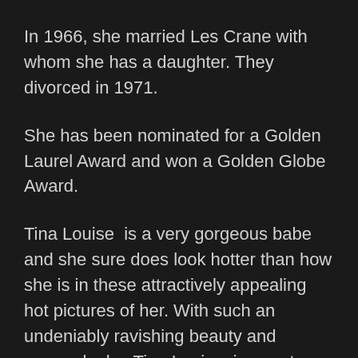In 1966, she married Les Crane with whom she has a daughter. They divorced in 1971.
She has been nominated for a Golden Laurel Award and won a Golden Globe Award.
Tina Louise  is a very gorgeous babe and she sure does look hotter than how she is in these attractively appealing hot pictures of her. With such an undeniably ravishing beauty and serene looks, Tina Louise  is sure to storm the internet and grab your attention, all day long. Make sure to go through and enjoy each and every hot picture of Tina Louise  as you don't want to miss out any part